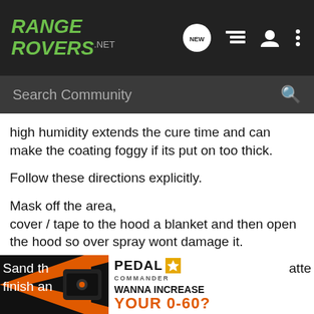RANGE ROVERS .NET
high humidity extends the cure time and can make the coating foggy if its put on too thick.
Follow these directions explicitly.
Mask off the area,
cover / tape to the hood a blanket and then open the hood so over spray wont damage it.
Wipe the lens with alcohol a few times with a paper towel or microfiber towel.this will remove any wax that has been used on the lights.
Sand th... atte
finish an...
[Figure (screenshot): Advertisement banner: Pedal Commander with orange arrow graphic and 'WANNA INCREASE YOUR 0-60?' text]